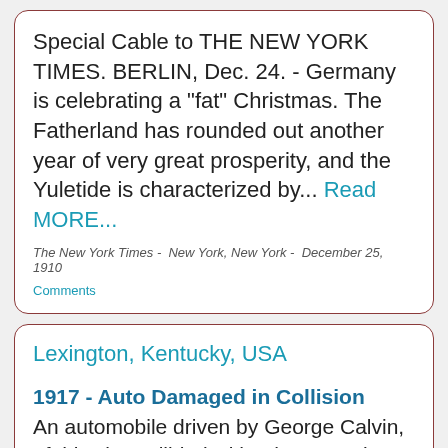Special Cable to THE NEW YORK TIMES. BERLIN, Dec. 24. - Germany is celebrating a "fat" Christmas. The Fatherland has rounded out another year of very great prosperity, and the Yuletide is characterized by... Read MORE...
The New York Times -  New York, New York -  December 25, 1910
Comments
Lexington, Kentucky, USA
1917 - Auto Damaged in Collision
An automobile driven by George Calvin, of this city, collided with a horse and buggy driven by James Futon, who lost the